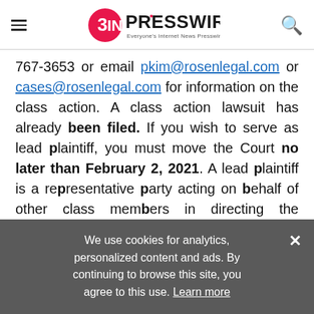EINPresswire — Everyone's Internet News Presswire
767-3653 or email pkim@rosenlegal.com or cases@rosenlegal.com for information on the class action. A class action lawsuit has already been filed. If you wish to serve as lead plaintiff, you must move the Court no later than February 2, 2021. A lead plaintiff is a representative party acting on behalf of other class members in directing the litigation.
WHY ROSEN LAW: We encourage investors to
We use cookies for analytics, personalized content and ads. By continuing to browse this site, you agree to this use. Learn more